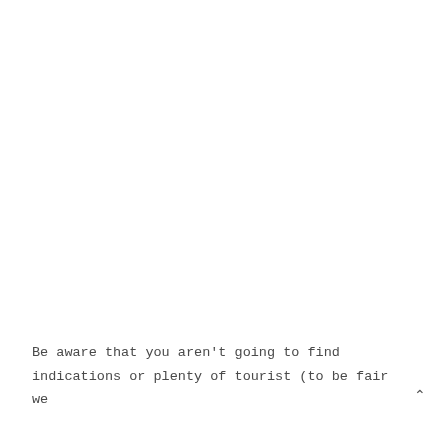Be aware that you aren't going to find indications or plenty of tourist (to be fair we